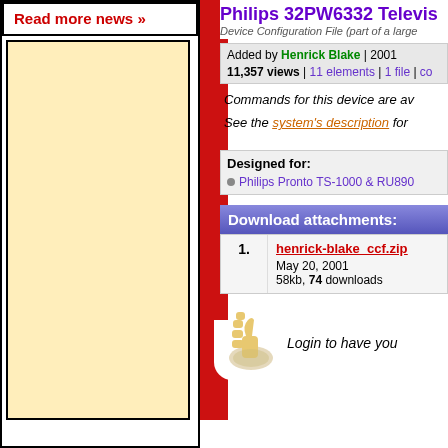Read more news »
Philips 32PW6332 Televis...
Device Configuration File (part of a large...
Added by Henrick Blake | 2001
11,357 views | 11 elements | 1 file | co...
Commands for this device are av...
See the system's description for...
Designed for:
Philips Pronto TS-1000 & RU890...
Download attachments:
| # | File |
| --- | --- |
| 1. | henrick-blake_ccf.zip
May 20, 2001
58kb, 74 downloads |
Login to have you...